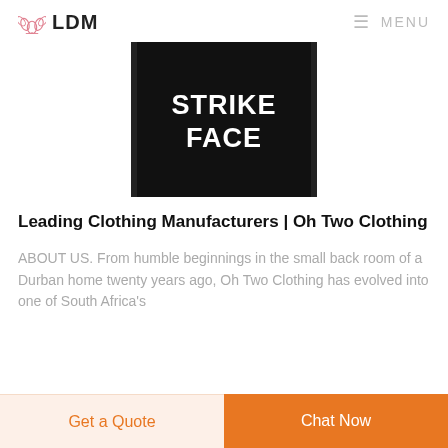LDM  MENU
[Figure (photo): Black panel with bold white text reading 'STRIKE FACE']
Leading Clothing Manufacturers | Oh Two Clothing
ABOUT US. From humble beginnings in the small back room of a Durban home twenty years ago, Oh Two Clothing has evolved into one of South Africa's
Get a Quote  Chat Now